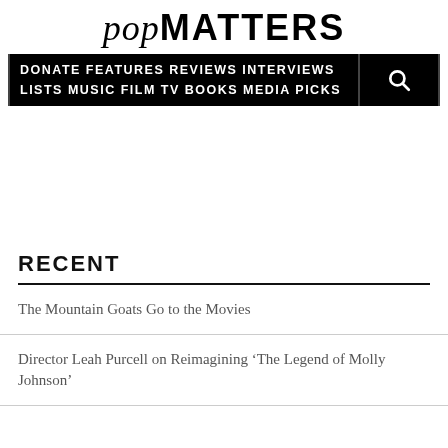popMATTERS
DONATE FEATURES REVIEWS INTERVIEWS LISTS MUSIC FILM TV BOOKS MEDIA PICKS
RECENT
The Mountain Goats Go to the Movies
Director Leah Purcell on Reimagining ‘The Legend of Molly Johnson’